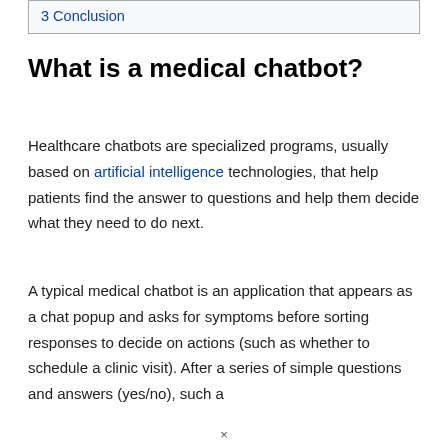3 Conclusion
What is a medical chatbot?
Healthcare chatbots are specialized programs, usually based on artificial intelligence technologies, that help patients find the answer to questions and help them decide what they need to do next.
A typical medical chatbot is an application that appears as a chat popup and asks for symptoms before sorting responses to decide on actions (such as whether to schedule a clinic visit). After a series of simple questions and answers (yes/no), such a